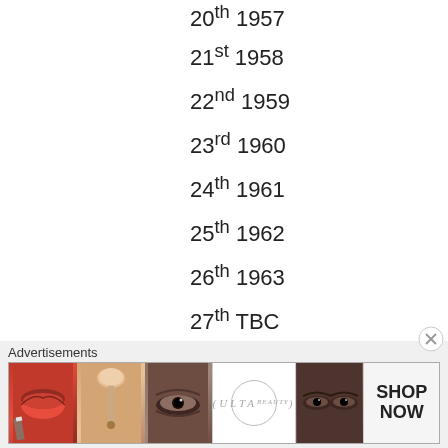20th 1957
21st 1958
22nd 1959
23rd 1960
24th 1961
25th 1962
26th 1963
27th TBC
28th TBC
29th TBC
30th TBC
31st TBC
32nd TBC
33rd TBC
[Figure (other): Advertisement banner showing Ulta Beauty cosmetics ad with makeup imagery — lips, brush, eyes, Ulta logo, and 'SHOP NOW' text]